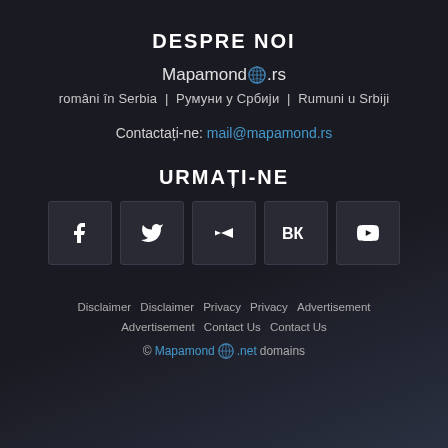DESPRE NOI
Mapamond🌐.rs
români în Serbia | Румуни у Србији | Rumuni u Srbiji
Contactați-ne: mail@mapamond.rs
URMAȚI-NE
[Figure (infographic): Row of 5 social media icon boxes: Facebook (f), Twitter (bird), Vimeo (V), VK (VK), YouTube (play button)]
Disclaimer  Disclaimer  Privacy  Privacy  Advertisement  Advertisement  Contact Us  Contact Us
© Mapamond🌐.net domains